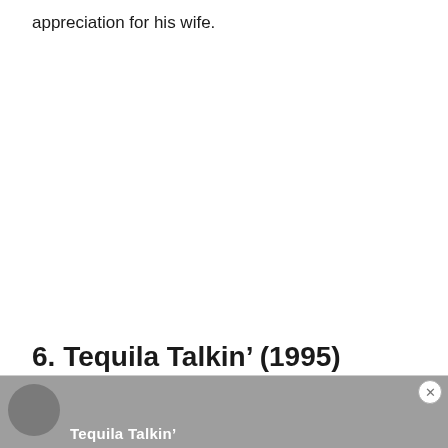appreciation for his wife.
6. Tequila Talkin’ (1995)
[Figure (photo): Partial photo of Tequila Talkin' with a person's face visible, partially cropped at the bottom of the page, with an advertisement close button overlay]